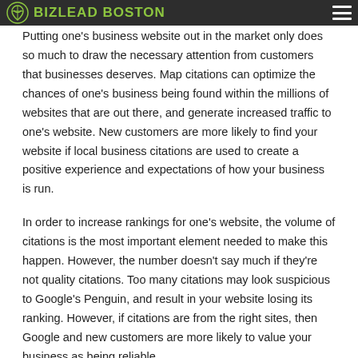BizLead Boston
Putting one's business website out in the market only does so much to draw the necessary attention from customers that businesses deserves. Map citations can optimize the chances of one's business being found within the millions of websites that are out there, and generate increased traffic to one's website. New customers are more likely to find your website if local business citations are used to create a positive experience and expectations of how your business is run.
In order to increase rankings for one's website, the volume of citations is the most important element needed to make this happen. However, the number doesn't say much if they're not quality citations. Too many citations may look suspicious to Google's Penguin, and result in your website losing its ranking. However, if citations are from the right sites, then Google and new customers are more likely to value your business as being reliable.